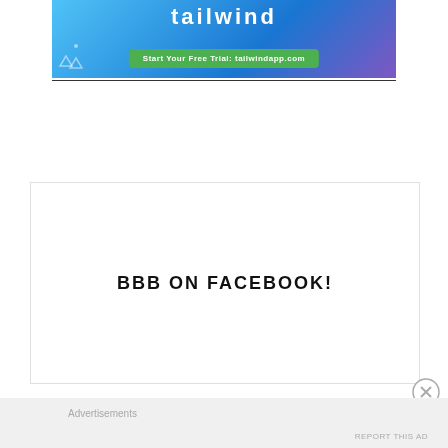[Figure (screenshot): Tailwind app advertisement banner with gradient blue-purple background, Tailwind logo, and a green 'Start Your Free Trial: tailwindapp.com' button, with geometric icon shapes at bottom left]
BBB ON FACEBOOK!
[Figure (other): Close/dismiss button (circled X) for the advertisement overlay]
Advertisements
REPORT THIS AD